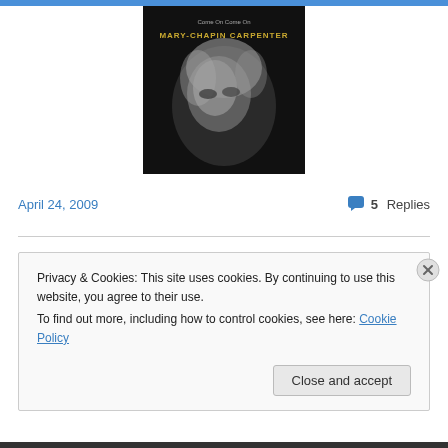[Figure (photo): Album cover for Mary-Chapin Carpenter 'Come On Come On' showing a black and white portrait of a blonde woman with text overlay]
April 24, 2009
5 Replies
Privacy & Cookies: This site uses cookies. By continuing to use this website, you agree to their use.
To find out more, including how to control cookies, see here: Cookie Policy
Close and accept